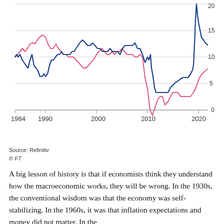[Figure (line-chart): Dual line chart with a blue line and a pink line showing two economic series from 1984 to approximately 2022. The y-axis ranges from 0 to 20. The blue line spikes sharply to ~22 around 2020-2021. The pink line also rises around 2020-2022 to about 10-11. Both lines show cyclical patterns across the period.]
Source: Refinitiv
© FT
A big lesson of history is that if economists think they understand how the macroeconomic works, they will be wrong. In the 1930s, the conventional wisdom was that the economy was self-stabilizing. In the 1960s, it was that inflation expectations and money did not matter. In the